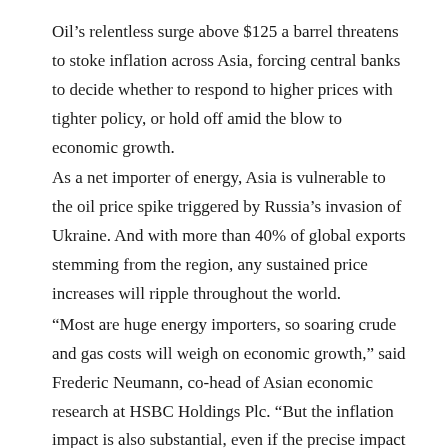Oil's relentless surge above $125 a barrel threatens to stoke inflation across Asia, forcing central banks to decide whether to respond to higher prices with tighter policy, or hold off amid the blow to economic growth.
As a net importer of energy, Asia is vulnerable to the oil price spike triggered by Russia's invasion of Ukraine. And with more than 40% of global exports stemming from the region, any sustained price increases will ripple throughout the world.
“Most are huge energy importers, so soaring crude and gas costs will weigh on economic growth,” said Frederic Neumann, co-head of Asian economic research at HSBC Holdings Plc. “But the inflation impact is also substantial, even if the precise impact on individual markets varies. A delicate balancing act for central banks.”
Here’s a guide to how the oil surge is impacting Asia’s biggest economies:
Chi...